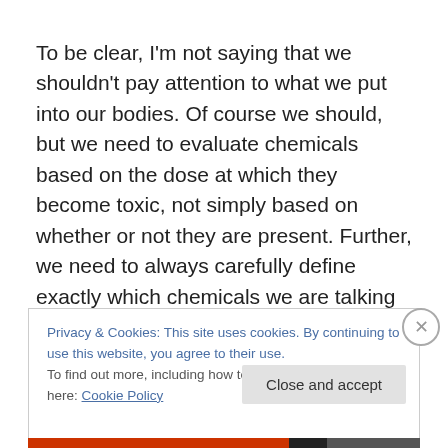To be clear, I'm not saying that we shouldn't pay attention to what we put into our bodies. Of course we should, but we need to evaluate chemicals based on the dose at which they become toxic, not simply based on whether or not they are present. Further, we need to always carefully define exactly which chemicals we are talking about, rather than using the vague and amorphous term “toxin,”
Privacy & Cookies: This site uses cookies. By continuing to use this website, you agree to their use.
To find out more, including how to control cookies, see here: Cookie Policy
Close and accept